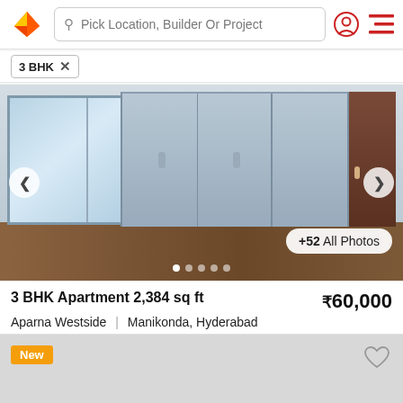Pick Location, Builder Or Project
3 BHK ×
[Figure (photo): Interior photo of a 3 BHK apartment room showing sliding glass doors to a balcony, large grey wardrobe/closet unit, wooden flooring, and a dark brown door on the right.]
+52 All Photos
3 BHK Apartment 2,384 sq ft
₹60,000
Aparna Westside  |  Manikonda, Hyderabad
3 BHK Residential Property for Rent in Manikonda Hyderaba...  More
Safekeys  AGENT
Connect